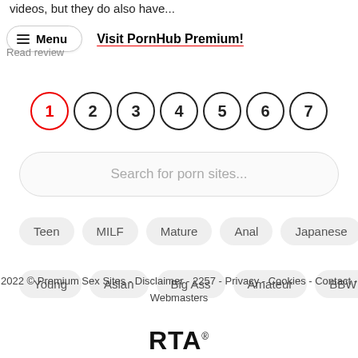videos, but they do also have...
≡ Menu   Visit PornHub Premium!
Read review
1 2 3 4 5 6 7 (pagination)
Search for porn sites...
Teen
MILF
Mature
Anal
Japanese
Young
Asian
Big Ass
Amateur
BBW
2022 © Premium Sex Sites - Disclaimer - 2257 - Privacy - Cookies - Contact - Webmasters
[Figure (logo): RTA logo with registered trademark symbol]